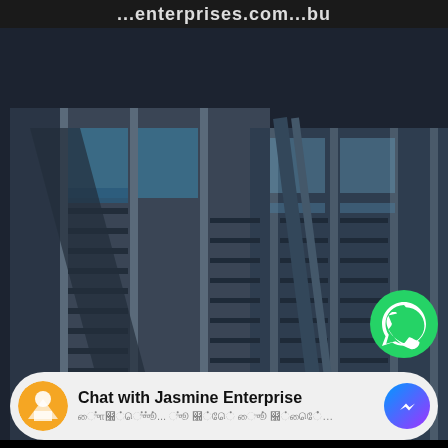...enterprisesomething...
[Figure (photo): Modern multi-story commercial building with dark steel and glass facade, featuring horizontal louvers and vertical mullions, photographed from a low angle against a dark background]
[Figure (logo): WhatsApp logo button (green circle with white phone handset icon)]
[Figure (infographic): Chat bar with Jasmine Enterprise logo, title 'Chat with Jasmine Enterprise', subtitle text in regional script, and Facebook Messenger icon button]